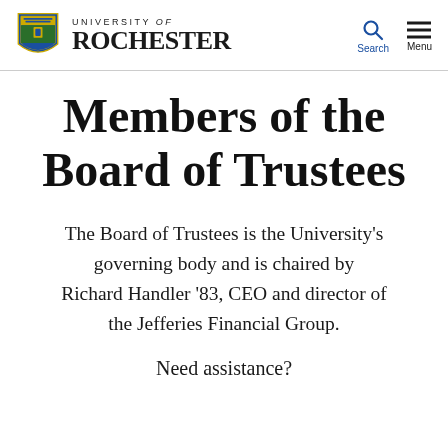University of Rochester
Members of the Board of Trustees
The Board of Trustees is the University's governing body and is chaired by Richard Handler '83, CEO and director of the Jefferies Financial Group.
Need assistance?